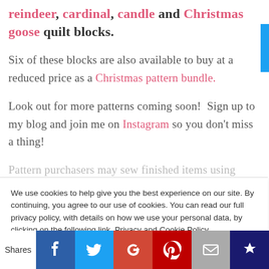reindeer, cardinal, candle and Christmas goose quilt blocks.
Six of these blocks are also available to buy at a reduced price as a Christmas pattern bundle.
Look out for more patterns coming soon! Sign up to my blog and join me on Instagram so you don't miss a thing!
Pattern purchasers may sew finished items using
We use cookies to help give you the best experience on our site. By continuing, you agree to our use of cookies. You can read our full privacy policy, with details on how we use your personal data, by clicking on the following link. Privacy and Cookie Policy
Shares [Facebook] [Twitter] [Google+] [Pinterest] [Email] [Crown]